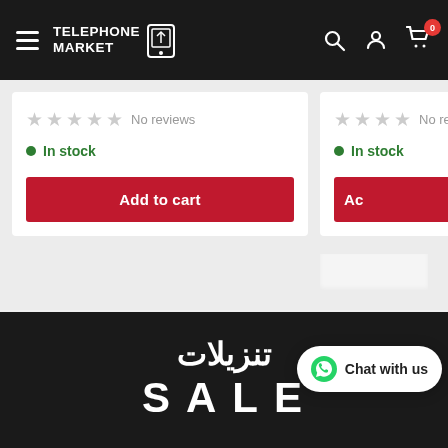Telephone Market — navigation header with logo, search, account, and cart icons
No reviews
In stock
Add to cart
No revi…
In stock
Ad…
[Figure (screenshot): Sale banner with Arabic text تنزيلات and English text SALE on a black background]
Chat with us